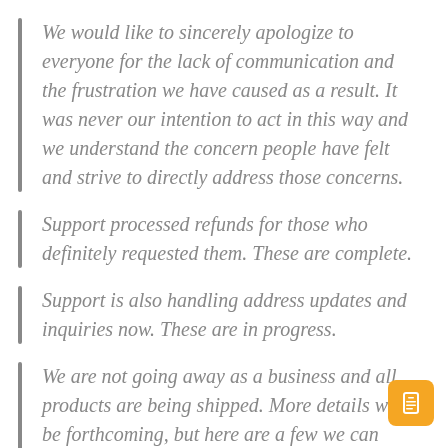We would like to sincerely apologize to everyone for the lack of communication and the frustration we have caused as a result. It was never our intention to act in this way and we understand the concern people have felt and strive to directly address those concerns.
Support processed refunds for those who definitely requested them. These are complete.
Support is also handling address updates and inquiries now. These are in progress.
We are not going away as a business and all products are being shipped. More details will be forthcoming, but here are a few we can share